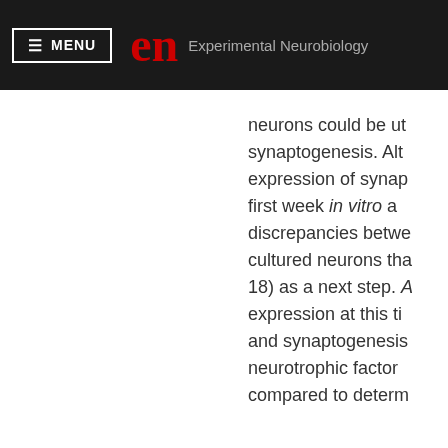MENU  en  Experimental Neurobiology
neurons could be utilized for synaptogenesis. Although expression of synaptic markers first week in vitro and discrepancies between cultured neurons that 18) as a next step. And expression at this time and synaptogenesis neurotrophic factor compared to determine